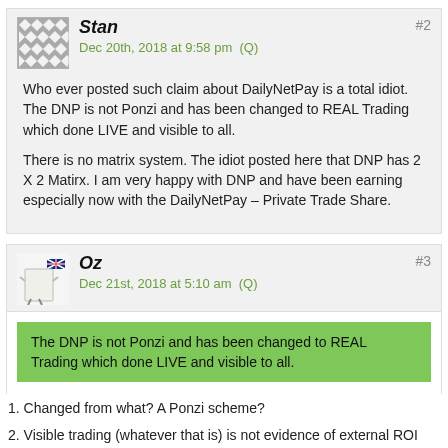Stan
Dec 20th, 2018 at 9:58 pm  (Q)
#2
Who ever posted such claim about DailyNetPay is a total idiot. The DNP is not Ponzi and has been changed to REAL Trading which done LIVE and visible to all.

There is no matrix system. The idiot posted here that DNP has 2 X 2 Matirx. I am very happy with DNP and have been earning especially now with the DailyNetPay – Private Trade Share.
Oz
Dec 21st, 2018 at 5:10 am  (Q)
#3
The DNP is not Ponzi and has been changed to REAL Trading which done LIVE and visible to all.
1. Changed from what? A Ponzi scheme?
2. Visible trading (whatever that is) is not evidence of external ROI revenue being used to pay investors. Why hasn't Keilec